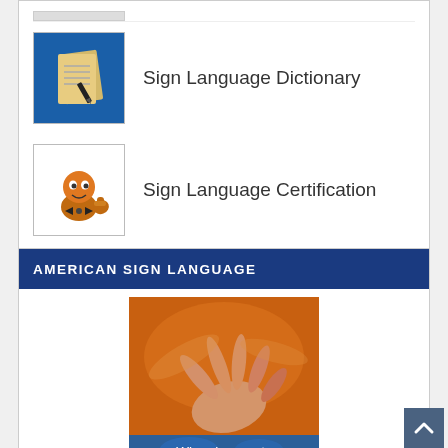[Figure (illustration): Thumbnail icon with blue background showing yellow notepad pages and a pen - Sign Language Dictionary]
Sign Language Dictionary
[Figure (illustration): Thumbnail showing an orange cartoon bookworm character wearing a bow tie and giving thumbs up - Sign Language Certification]
Sign Language Certification
AMERICAN SIGN LANGUAGE
[Figure (photo): Photo of hands signing in orange-toned light with text 'Who else wants' overlaid on a blue world map banner at the bottom]